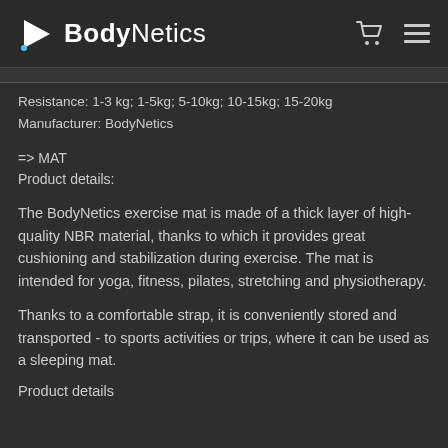BodyNetics
Resistance: 1-3 kg; 1-5kg; 5-10kg; 10-15kg; 15-20kg
Manufacturer: BodyNetics
=> MAT
Product details:
The BodyNetics exercise mat is made of a thick layer of high-quality NBR material, thanks to which it provides great cushioning and stabilization during exercise. The mat is intended for yoga, fitness, pilates, stretching and physiotherapy.
Thanks to a comfortable strap, it is conveniently stored and transported - to sports activities or trips, where it can be used as a sleeping mat.
Product details